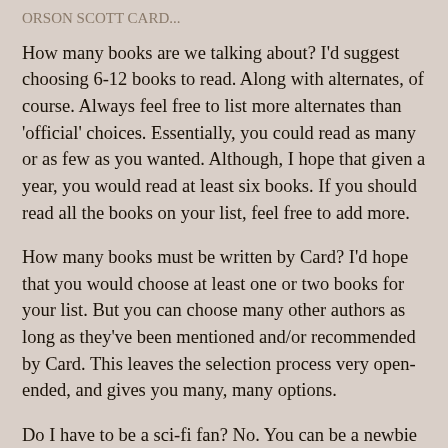ORSON SCOTT CARD...
How many books are we talking about? I'd suggest choosing 6-12 books to read. Along with alternates, of course. Always feel free to list more alternates than 'official' choices. Essentially, you could read as many or as few as you wanted. Although, I hope that given a year, you would read at least six books. If you should read all the books on your list, feel free to add more.
How many books must be written by Card? I'd hope that you would choose at least one or two books for your list. But you can choose many other authors as long as they've been mentioned and/or recommended by Card. This leaves the selection process very open-ended, and gives you many, many options.
Do I have to be a sci-fi fan? No. You can be a newbie to the field. (Or a devoted fan.) Prior experience is not required. If you're a fan of realistic fiction, science fiction, fantasy, historical